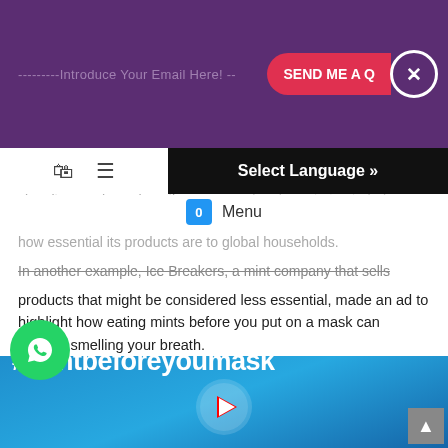---------Introduce Your Email Here! -- SEND ME A Q×
offers affordable and available products for cleanliness, shows how the company has been trying to help people impacted by the pandemic, and reminds audiences of how essential its products are to global households.
In another example, Ice Breakers, a mint company that sells products that might be considered less essential, made an ad to highlight how eating mints before you put on a mask can prevent smelling your breath.
[Figure (screenshot): YouTube video thumbnail for Hershey Ice Breakers #MaskBreath campaign showing '#mintbeforeyoumask' hashtag on blue background with Hershey logo and YouTube play button]